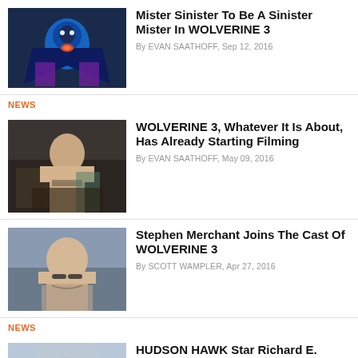[Figure (photo): Mister Sinister comic art illustration, dark blue caped villain with glowing chest]
Mister Sinister To Be A Sinister Mister In WOLVERINE 3
By EVAN SAATHOFF, Sep 12, 2016
NEWS
[Figure (photo): Hugh Jackman shirtless as Wolverine in a kitchen scene]
WOLVERINE 3, Whatever It Is About, Has Already Starting Filming
By EVAN SAATHOFF, May 09, 2016
[Figure (photo): Stephen Merchant smiling wearing glasses and a suit]
Stephen Merchant Joins The Cast Of WOLVERINE 3
By SCOTT WAMPLER, Apr 27, 2016
NEWS
[Figure (photo): Richard E. Grant in a scene, man in suit with raised arm]
HUDSON HAWK Star Richard E. Grant Joins WOLVERINE 3
By SCOTT WAMPLER, Apr 27, 2016